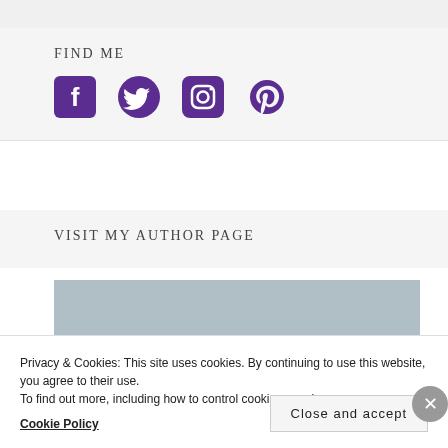FIND ME
[Figure (illustration): Four social media icons in purple: Facebook, Twitter, Instagram, Pinterest]
VISIT MY AUTHOR PAGE
[Figure (photo): Author page banner image in grey]
Privacy & Cookies: This site uses cookies. By continuing to use this website, you agree to their use.
To find out more, including how to control cookies, see here: Cookie Policy
Close and accept